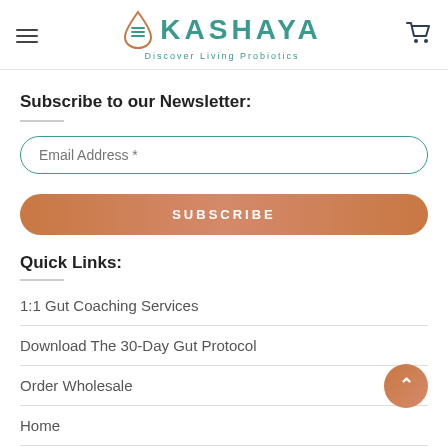KASHAYA — Discover Living Probiotics
Subscribe to our Newsletter:
Email Address *
SUBSCRIBE
Quick Links:
1:1 Gut Coaching Services
Download The 30-Day Gut Protocol
Order Wholesale
Home